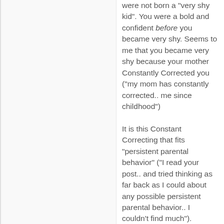were not born a "very shy kid". You were a bold and confident before you became very shy. Seems to me that you became very shy because your mother Constantly Corrected you ("my mom has constantly corrected.. me since childhood")
It is this Constant Correcting that fits "persistent parental behavior" ("I read your post.. and tried thinking as far back as I could about any possible persistent parental behavior.. I couldn't find much").
"She wanted me to be bold and beautiful and she put her life to it.